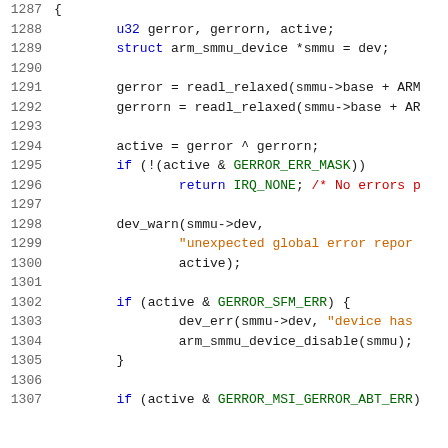[Figure (screenshot): Source code listing showing C code lines 1287-1307 for an ARM SMMU device driver interrupt handler, with syntax highlighting. Line numbers in gray on left, keywords in blue, strings in orange, comments in red, constants in green.]